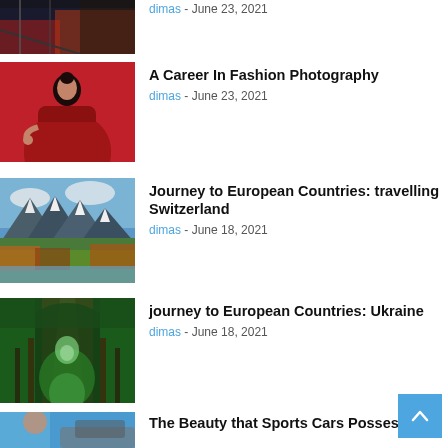[Figure (photo): Partial top article thumbnail showing a dimly lit interior scene with red/orange tones]
dimas - June 23, 2021
[Figure (photo): Woman in a red outfit sitting against a red background, fashion photography]
A Career In Fashion Photography
dimas - June 23, 2021
[Figure (photo): Snow-capped mountains with autumn forest and lake, Switzerland landscape]
Journey to European Countries: travelling Switzerland
dimas - June 18, 2021
[Figure (photo): Green tunnel of trees forming an arch over a path, Ukraine]
journey to European Countries: Ukraine
dimas - June 18, 2021
[Figure (photo): Woman near a sports car with blue sky background]
The Beauty that Sports Cars Possess